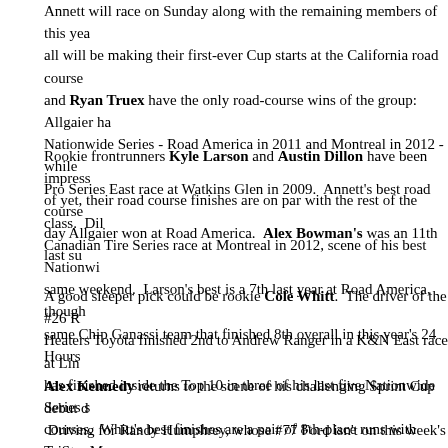Annett will race on Sunday along with the remaining members of this year's class, all will be making their first-ever Cup starts at the California road course. and Ryan Truex have the only road-course wins of the group: Allgaier has two in the Nationwide Series - Road America in 2011 and Montreal in 2012 - while Pro Series East race at Watkins Glen in 2009. Annett's best road course day Allgaier won at Road America. Alex Bowman's was an 11th last su
Rookie frontrunners Kyle Larson and Austin Dillon have been impress of yet, their road course finishes are on par with the rest of the class. Di Canadian Tire Series race at Montreal in 2012, scene of his best Nationwide same weekend. Larson's best is a 7th last year at Road America, though same Chip Ganassi team that finished 8th overall in this year's 24 Hours
A good sleeper pick could be rookie Cole Whitt. The driver of the #26 R Heaters Toyota finished 2nd to Andrew Ranger in a K&N East race at Lin has finished inside the Top 10 in three of his last five Nationwide Series s courses. Whitt's best finishes are a pair of 8th-place runs with TriStar Mo America and Watkins Glen last year.
Alex Kennedy returns to the scene of his challenging Sprint Cup debut d Driving for Randy Humphrey, whose #77 Ford isn't on this week's list, th competitor was rear-ended on pit road by Paulie Harraka, then wrecked i the midway point. This year, he makes his second start of the year in Ci Joe's Autos Chevrolet, the team which road ringer Ron Fellows drove fo road course starts last year. Kennedy finished 39th in the #33 two weeks